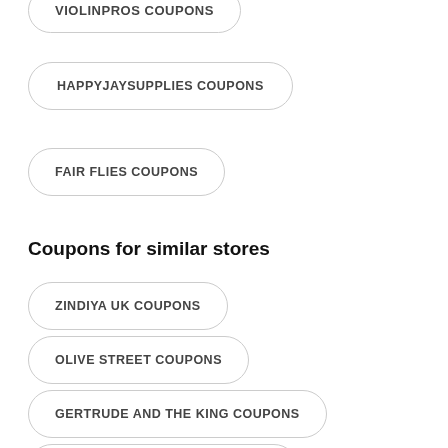VIOLINPROS COUPONS
HAPPYJAYSUPPLIES COUPONS
FAIR FLIES COUPONS
Coupons for similar stores
ZINDIYA UK COUPONS
OLIVE STREET COUPONS
GERTRUDE AND THE KING COUPONS
ADORATION APPAREL COUPONS